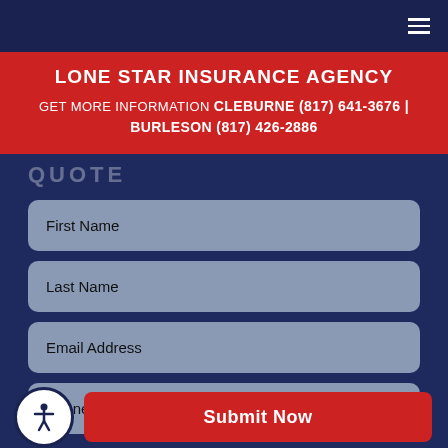LONE STAR INSURANCE AGENCY — GET MORE INFORMATION CLEBURNE (817) 641-3676 | BURLESON (817) 426-2886
QUOTE
First Name
Last Name
Email Address
Phone Number
Submit Now